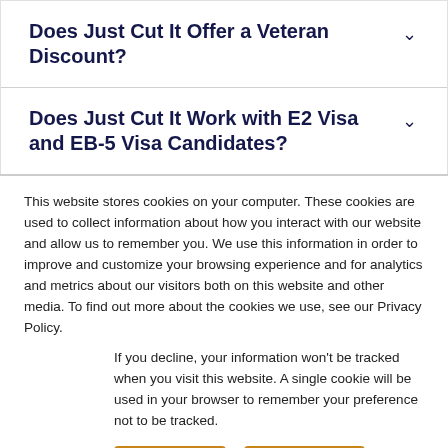Does Just Cut It Offer a Veteran Discount?
Does Just Cut It Work with E2 Visa and EB-5 Visa Candidates?
This website stores cookies on your computer. These cookies are used to collect information about how you interact with our website and allow us to remember you. We use this information in order to improve and customize your browsing experience and for analytics and metrics about our visitors both on this website and other media. To find out more about the cookies we use, see our Privacy Policy.
If you decline, your information won’t be tracked when you visit this website. A single cookie will be used in your browser to remember your preference not to be tracked.
Accept
Decline